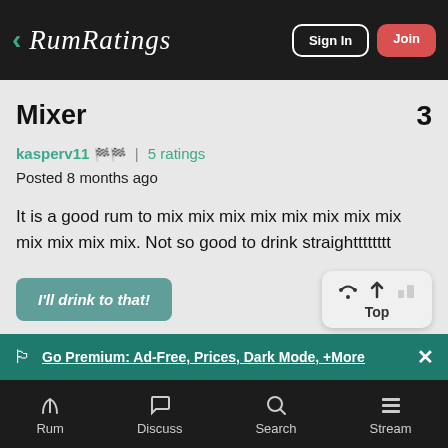RumRatings — Sign In | Join
Mixer  3
kasperv11 🏁🏁 | 5 ratings
Posted 8 months ago
It is a good rum to mix mix mix mix mix mix mix mix mix mix mix mix. Not so good to drink straightttttttt
I'll drink to that!
Go Premium: Ad-Free, Prices, Dark Mode, +More
Rum  Discuss  Search  Stream